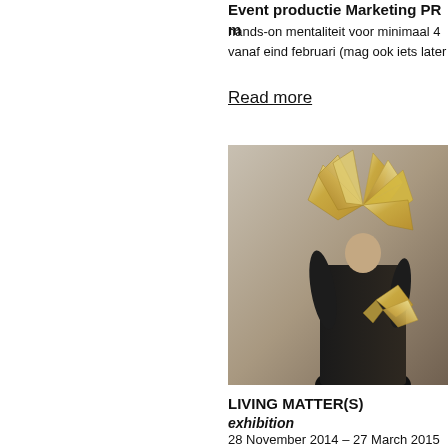Event productie Marketing PR m
hands-on mentaliteit voor minimaal 4
vanaf eind februari (mag ook iets later
Read more
[Figure (photo): Person wearing black outfit with geometric golden/origami-style sculptural headpiece and shoulder piece, photographed against grey background]
LIVING MATTER(S)
exhibition
28 November 2014 – 27 March 2015
Transnatural Workspace
In a series of three exhibitions Tra